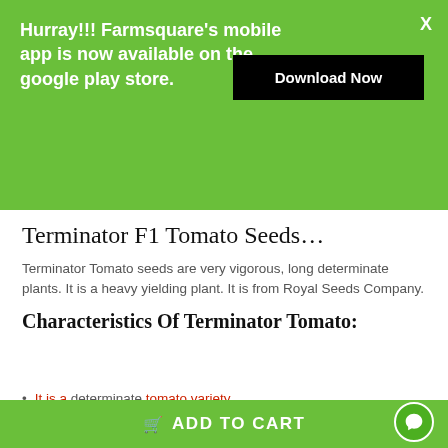Hurray!!! Farmsquare's mobile app is now available on the google play store.
Download Now
X
Terminator F1 Tomato Seeds…
Terminator Tomato seeds are very vigorous, long determinate plants. It is a heavy yielding plant. It is from Royal Seeds Company.
Characteristics Of Terminator Tomato:
It is a determinate tomato variety.
Maturity 75 days from transplanting.
Fruit weight 120 grams.
Yield Potential 30 tonnes per acre
ADD TO CART